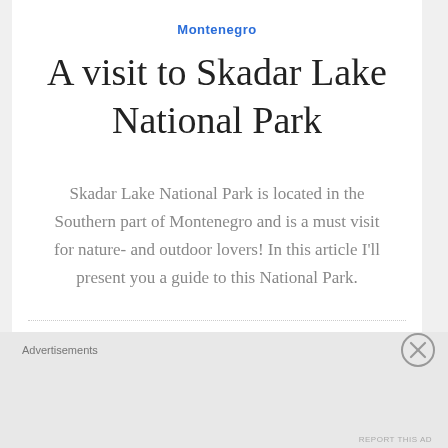Montenegro
A visit to Skadar Lake National Park
Skadar Lake National Park is located in the Southern part of Montenegro and is a must visit for nature- and outdoor lovers! In this article I'll present you a guide to this National Park.
By Girlswanderlust / March 12, 2020
Advertisements